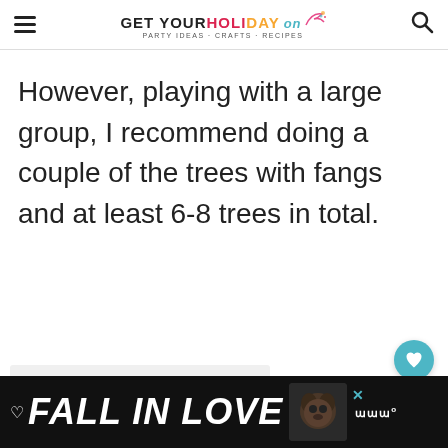GET YOUR HOLIDAY on — PARTY IDEAS · CRAFTS · RECIPES
However, playing with a large group, I recommend doing a couple of the trees with fangs and at least 6-8 trees in total.
[Figure (screenshot): Floating heart (favorite) button in teal and share button in white on the right side of the page]
[Figure (screenshot): Ad banner at bottom of page: black background, FALL IN LOVE text in white italic bold, dog photo, close button, heart icon, Wynk music logo]